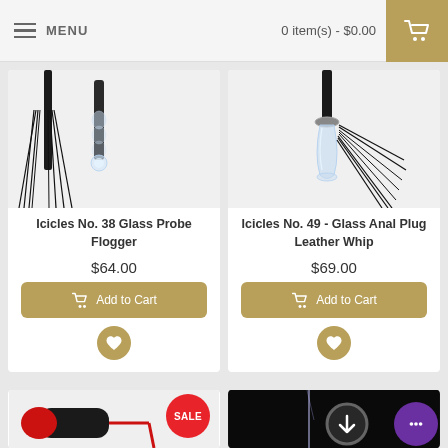MENU   0 item(s) - $0.00
[Figure (photo): Icicles No. 38 Glass Probe Flogger product image showing black flogger with glass probe]
Icicles No. 38 Glass Probe Flogger
$64.00
Add to Cart
[Figure (photo): Icicles No. 49 - Glass Anal Plug Leather Whip product image showing glass plug with black leather whip]
Icicles No. 49 - Glass Anal Plug Leather Whip
$69.00
Add to Cart
[Figure (photo): Bottom left product with SALE badge - red and black item partially visible]
[Figure (photo): Bottom right product on dark background - glass item with arrow upload circle and purple chat bubble]